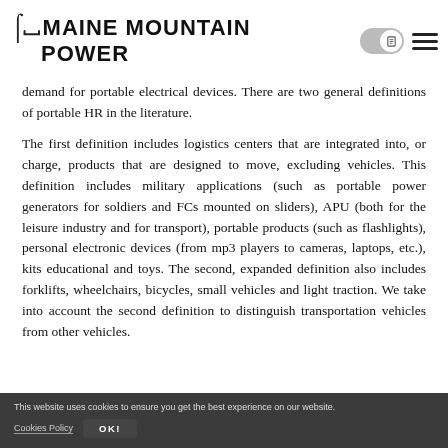MAINE MOUNTAIN POWER
demand for portable electrical devices. There are two general definitions of portable HR in the literature.
The first definition includes logistics centers that are integrated into, or charge, products that are designed to move, excluding vehicles. This definition includes military applications (such as portable power generators for soldiers and FCs mounted on sliders), APU (both for the leisure industry and for transport), portable products (such as flashlights), personal electronic devices (from mp3 players to cameras, laptops, etc.), kits educational and toys. The second, expanded definition also includes forklifts, wheelchairs, bicycles, small vehicles and light traction. We take into account the second definition to distinguish transportation vehicles from other vehicles.
This website uses cookies to ensure you get the best experience on our website.
Cookies Policy   OK!